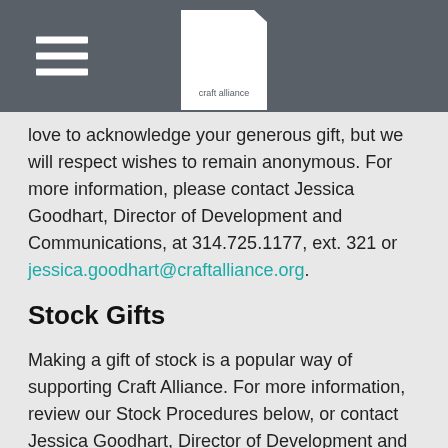craft alliance
love to acknowledge your generous gift, but we will respect wishes to remain anonymous. For more information, please contact Jessica Goodhart, Director of Development and Communications, at 314.725.1177, ext. 321 or jessica.goodhart@craftalliance.org.
Stock Gifts
Making a gift of stock is a popular way of supporting Craft Alliance. For more information, review our Stock Procedures below, or contact Jessica Goodhart, Director of Development and Communications, at 314.725.1177, ext. 321 or jessica.goodhart@craftalliance.org.
Stock Procedures
Naming Opportunities